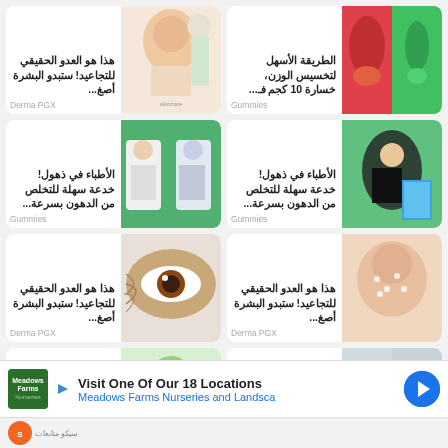[Figure (infographic): Grid of 8 advertisement cards in Arabic, 2 columns, with images of muscles, face/skincare, doctors, eyes. Bottom ad banner for Meadows Farms Nurseries.]
هذا هو العدو الحقيقي للتجاعيد! ستبدو البشرة أصغ...
Derma PGX
الطريقة الأسهل لتخسيس الوزن، خسارة 10 كجم في...
Gummies
الأطباء في ذهول! خدعة سهلة للتخلص من الدهون بسرعة...
Gummies
الأطباء في ذهول! خدعة سهلة للتخلص من الدهون بسرعة...
Gummies
هذا هو العدو الحقيقي للتجاعيد! ستبدو البشرة أصغ...
Derma PGX
هذا هو العدو الحقيقي للتجاعيد! ستبدو البشرة أصغ...
Derma PGX
هذا هو العدو الحقيقي لدهون البطن! 15 كغ...
هذا هو العدو الحقيقي للتجاعيد! ستبدو البشرة أصغ...
Derma PGX
Visit One Of Our 18 Locations
Meadows Farms Nurseries and Landsca